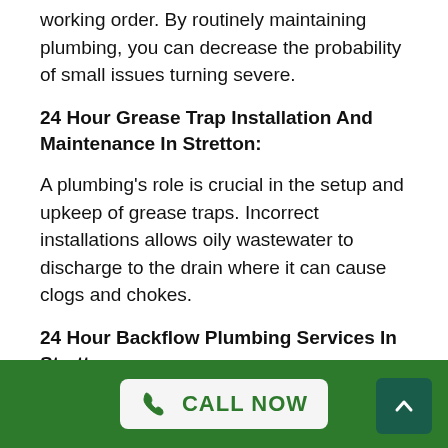working order. By routinely maintaining plumbing, you can decrease the probability of small issues turning severe.
24 Hour Grease Trap Installation And Maintenance In Stretton:
A plumbing's role is crucial in the setup and upkeep of grease traps. Incorrect installations allows oily wastewater to discharge to the drain where it can cause clogs and chokes.
24 Hour Backflow Plumbing Services In Stretton:
Backflow is the reversal of the normal direction of water flow in your water system pipes system. In order to reduce the danger of contamination, it is necessary to install a backflow system and make sure your plumbing
CALL NOW